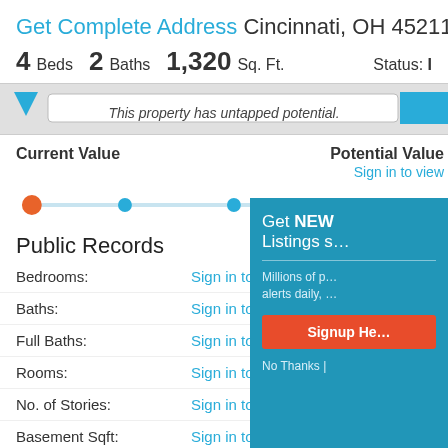Get Complete Address Cincinnati, OH 45211
4 Beds   2 Baths   1,320 Sq. Ft.   Status: I
[Figure (screenshot): Website banner with navigation bar, triangle icon, search bar, and blue button]
This property has untapped potential.
Current Value
Potential Value
Sign in to view
[Figure (infographic): Dot slider with orange dot on left and blue dots across a horizontal light blue track]
Public Records
Bedrooms:   Sign in to view
Baths:   Sign in to view
Full Baths:   Sign in to view
Rooms:   Sign in to view
No. of Stories:   Sign in to view
Basement Sqft:   Sign in to view
Air Conditioning:   Sign in to view
[Figure (screenshot): Popup overlay: Get NEW Listings s... / Millions of p... alerts daily, ... / Signup He... button / No Thanks |]